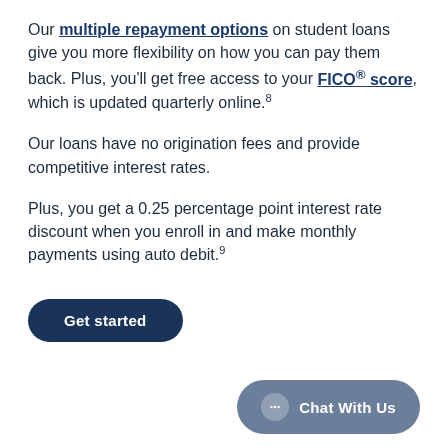Our multiple repayment options on student loans give you more flexibility on how you can pay them back. Plus, you'll get free access to your FICO® score, which is updated quarterly online.⁸
Our loans have no origination fees and provide competitive interest rates.
Plus, you get a 0.25 percentage point interest rate discount when you enroll in and make monthly payments using auto debit.⁹
Get started
Chat With Us